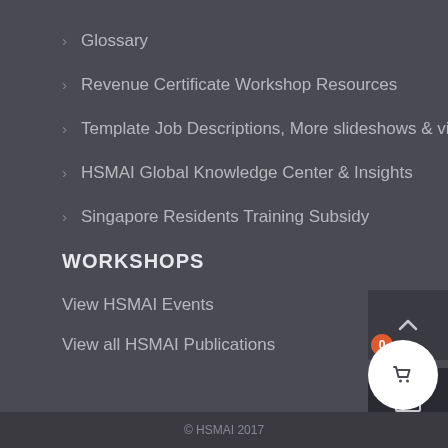Glossary
Revenue Certificate Workshop Resources
Template Job Descriptions, More slideshows & videos, whitepapers
HSMAI Global Knowledge Center & Insights
Singapore Residents Training Subsidy
WORKSHOPS
View HSMAI Events
View all HSMAI Publications
© HSMAI 2017